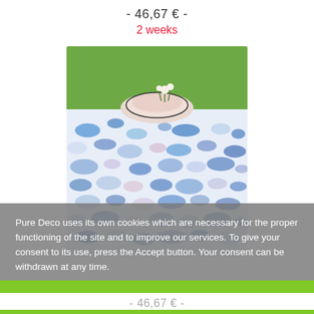- 46,67 € -
2 weeks
[Figure (photo): Outdoor table with a blue and white floral/abstract patterned tablecloth, with stacked plates and flowers on top, green grass background.]
Pure Deco uses its own cookies which are necessary for the proper functioning of the site and to improve our services. To give your consent to its use, press the Accept button. Your consent can be withdrawn at any time.
More information   Personnalisation
I ACCEPT
- 46,67 € -